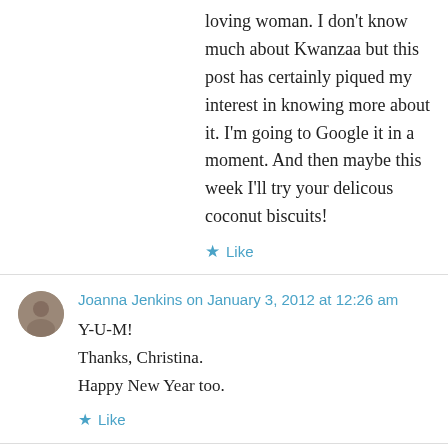loving woman. I don't know much about Kwanzaa but this post has certainly piqued my interest in knowing more about it. I'm going to Google it in a moment. And then maybe this week I'll try your delicous coconut biscuits!
★ Like
Joanna Jenkins on January 3, 2012 at 12:26 am
Y-U-M!
Thanks, Christina.
Happy New Year too.
★ Like
latebloomerbuds on January 1, 2012 at 1:41 pm